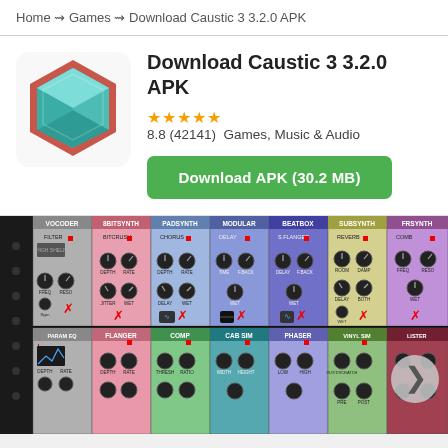Home ~> Games ~> Download Caustic 3 3.2.0 APK
[Figure (logo): Caustic 3 app icon: a 3D hexagon shape in teal/cyan with brown/red edges on white background]
Download Caustic 3 3.2.0 APK
★★★★★ 8.8 (42141) Games, Music & Audio
Download APK (30.2 MB)
[Figure (screenshot): Screenshot of Caustic 3 synthesizer app showing multiple synthesizer modules: VOCODER, 8BITSYNTH, PADSYNTH, MODULAR, BEATBOX, SUBSYNTH, FRSYNTH with knobs, effects (FILTER, BITCRUSH, CHORUS, DELAY, S.FLANGER, REVERB, COMB), and second row (PARAM EQ, FLANGER, COMP, CAB SIM, PHASER, VINYL SIM) with various controls]